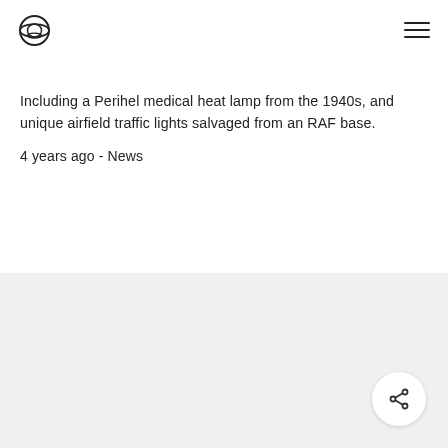[Logo] [Hamburger menu]
Including a Perihel medical heat lamp from the 1940s, and unique airfield traffic lights salvaged from an RAF base.
4 years ago - News
[Figure (other): Light grey background section at bottom of page with a circular share button in the bottom-right corner]